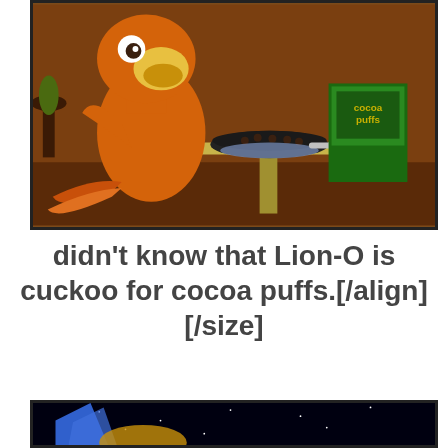[Figure (illustration): Cartoon scene showing Lion-O (an orange animated bird/cat character) leaning over a table looking at a bowl of Cocoa Puffs cereal with the Cocoa Puffs box visible on the table. Brown retro background with a plant visible.]
didn't know that Lion-O is cuckoo for cocoa puffs.[/align] [/size]
[Figure (illustration): Partial bottom image showing a space scene with a dark starry background and blue/golden shapes at the bottom edge.]